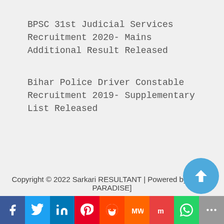BPSC 31st Judicial Services Recruitment 2020- Mains Additional Result Released
Bihar Police Driver Constable Recruitment 2019- Supplementary List Released
Copyright © 2022 Sarkari RESULTANT | Powered by [Digital PARADISE]
[Figure (infographic): Social media share bar with icons: Facebook, Twitter, LinkedIn, Pinterest, Reddit, MeWe, Mix, WhatsApp, More]